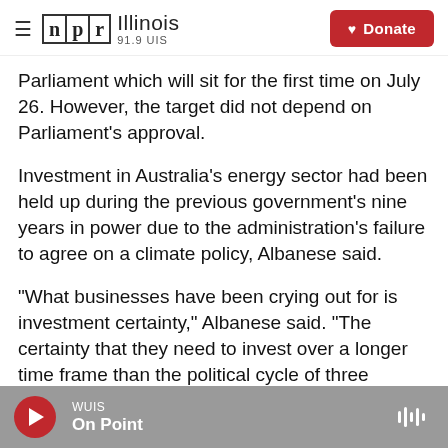NPR Illinois 91.9 UIS | Donate
Parliament which will sit for the first time on July 26. However, the target did not depend on Parliament's approval.
Investment in Australia's energy sector had been held up during the previous government's nine years in power due to the administration's failure to agree on a climate policy, Albanese said.
"What businesses have been crying out for is investment certainty," Albanese said. "The certainty that they need to invest over a longer time frame than the political cycle of three years."
WUIS | On Point